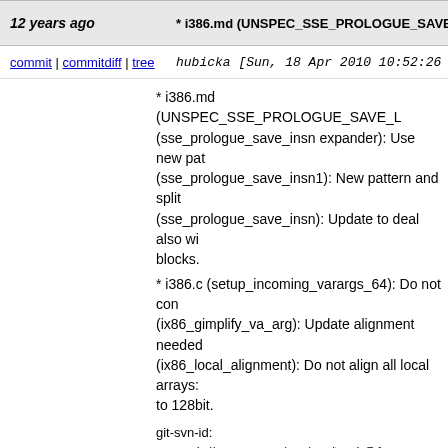12 years ago | * i386.md (UNSPEC_SSE_PROLOGUE_SAVE_L...
commit | commitdiff | tree   hubicka [Sun, 18 Apr 2010 10:52:26 +0000...
* i386.md (UNSPEC_SSE_PROLOGUE_SAVE_L... (sse_prologue_save_insn expander): Use new pat... (sse_prologue_save_insn1): New pattern and split... (sse_prologue_save_insn): Update to deal also wi... blocks. * i386.c (setup_incoming_varargs_64): Do not con... (ix86_gimplify_va_arg): Update alignment needed... (ix86_local_alignment): Do not align all local arrays: to 128bit. git-svn-id: svn+ssh://gcc.gnu.org/svn/gcc/trunk@1...
12 years ago | 2010-04-18 Ozkan Sezer <sezeroz@gmail.com>
commit | commitdiff | tree   ktietz [Sun, 18 Apr 2010 10:15:52 +0000...
2010-04-18  Ozkan Sezer  <sezeroz@gmail.com>

	* gsocket.h: Make sure that winsock2.h is inc...

git-svn-id: svn+ssh://gcc.gnu.org/svn/gcc/trunk@1...
12 years ago | Daily bump.